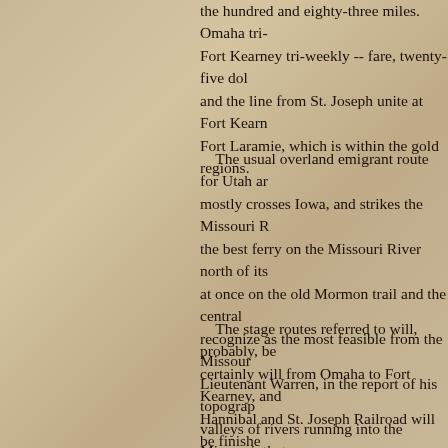the hundred and eighty-three miles. Omaha tri-weekly -- fare, twenty-five dollars; Fort Kearney tri-weekly -- fare, twenty-five dollars; and the line from St. Joseph unite at Fort Kearney and run to Fort Laramie, which is within the gold regions.
The usual overland emigrant route for Utah and Oregon mostly crosses Iowa, and strikes the Missouri River north of its mouth, at once on the old Mormon trail and the central route, which all recognize as the most feasible from the Missouri River west. Lieutenant Warren, in the report of his topographical survey of valleys of rivers running into the Missouri, that this route is of any kind of a road leading to the interior, and the most natural. An appropriation of fifty thousand dollars has been made for the eastern portion of it, and the only important impediment, which is superior to any route on the south side of the Platte, is the crossing of Loup Fork, either by bridge or ferry.
The stage routes referred to will, probably, be established, certainly will from Omaha to Fort Kearney, and when the Hannibal and St. Joseph Railroad will be finished, first-class packets will ply daily between St. Louis and Omaha.  an outfit for the mines, with tools and provisions, from fifty to sixty dollars. -- Miners going in co-operation, purchasing a team of either oxen or mules, which could be had at fair rates at any of the points estimated at